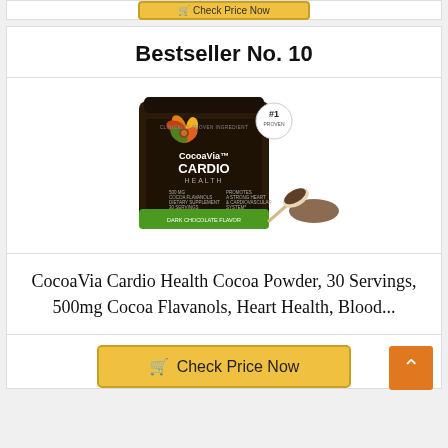[Figure (screenshot): Top portion of a previous card with a golden Check Price Now button partially visible at the top of the page]
Bestseller No. 10
[Figure (photo): CocoaVia Cardio Health Cocoa Powder product container — dark brown canister with green label band, CocoaVia logo with colorful leaf design, text reading CARDIO HEALTH, 500mg Cocoa Flavanols, 30 Servings, Dark Chocolate Flavor, with a scoop of dark powder beside it. A #1 PROVEN badge in the top right corner.]
CocoaVia Cardio Health Cocoa Powder, 30 Servings, 500mg Cocoa Flavanols, Heart Health, Blood...
Check Price Now